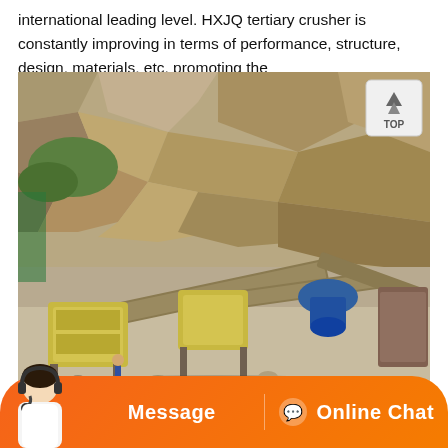international leading level. HXJQ tertiary crusher is constantly improving in terms of performance, structure, design, materials, etc, promoting the
[Figure (photo): Aerial/overhead view of a stone crushing plant at a quarry site. Yellow conveyor belts and crushing machines are arranged on rocky terrain with a large rocky cliff face in the background. Green netting is visible on the left side. The mining equipment includes jaw crushers and cone crushers connected by conveyor belts.]
Message    Online Chat